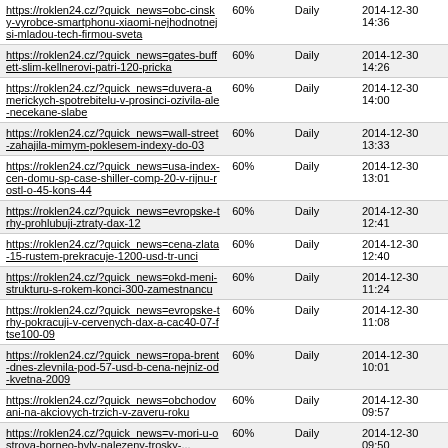| URL | % | Frequency | Date |
| --- | --- | --- | --- |
| https://roklen24.cz/?quick_news=cbc-cinsky-vyrobce-smartphonu-xiaomi-nejhodnotnejsi-mladou-tech-firmou-sveta | 60% | Daily | 2014-12-30 14:36 |
| https://roklen24.cz/?quick_news=gates-buffett-slim-kellnerovi-patri-120-pricka | 60% | Daily | 2014-12-30 14:26 |
| https://roklen24.cz/?quick_news=duvera-americkych-spotrebitelu-v-prosinci-ozivila-ale-necekane-slabe | 60% | Daily | 2014-12-30 14:00 |
| https://roklen24.cz/?quick_news=wall-street-zahajila-mimym-poklesem-indexy-do-03 | 60% | Daily | 2014-12-30 13:33 |
| https://roklen24.cz/?quick_news=usa-index-cen-domu-sp-case-shiller-comp-20-v-rijnu-rostl-o-45-kons-44 | 60% | Daily | 2014-12-30 13:01 |
| https://roklen24.cz/?quick_news=evropske-trhy-prohlubuji-ztraty-dax-12 | 60% | Daily | 2014-12-30 12:41 |
| https://roklen24.cz/?quick_news=cena-zlata-15-rustem-prekracuje-1200-usd-tr-unci | 60% | Daily | 2014-12-30 12:40 |
| https://roklen24.cz/?quick_news=okd-meni-strukturu-s-rokem-konci-300-zamestnancu | 60% | Daily | 2014-12-30 11:24 |
| https://roklen24.cz/?quick_news=evropske-trhy-pokracuji-v-cervenych-dax-a-cac40-07-ftse100-09 | 60% | Daily | 2014-12-30 11:08 |
| https://roklen24.cz/?quick_news=ropa-brent-dnes-zlevnila-pod-57-usd-b-cena-nejniz-od-kvetna-2009 | 60% | Daily | 2014-12-30 10:01 |
| https://roklen24.cz/?quick_news=obchodovani-na-akciovych-trzich-v-zaveru-roku | 60% | Daily | 2014-12-30 09:57 |
| https://roklen24.cz/?quick_news=v-mori-u-ostrova-borneo-byly-nalezeny-trosky-... | 60% | Daily | 2014-12-30 09:50 |